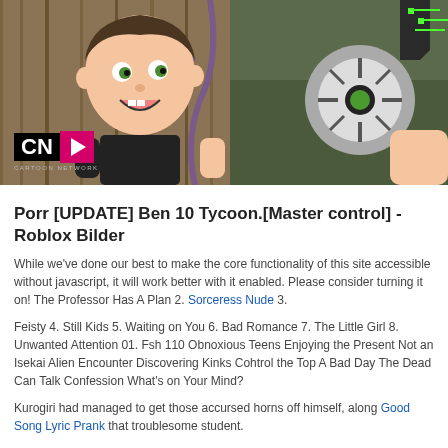[Figure (photo): Cartoon Network image showing animated characters from Ben 10, with the CN logo visible in the lower left corner. Characters include a boy with brown hair and a mechanical Omnitrix device.]
Porr [UPDATE] Ben 10 Tycoon.[Master control] - Roblox Bilder
While we've done our best to make the core functionality of this site accessible without javascript, it will work better with it enabled. Please consider turning it on! The Professor Has A Plan 2. Sorceress Nude 3.
Feisty 4. Still Kids 5. Waiting on You 6. Bad Romance 7. The Little Girl 8. Unwanted Attention 01. Fsh 110 Obnoxious Teens Enjoying the Present Not an Isekai Alien Encounter Discovering Kinks Cohtrol the Top A Bad Day The Dead Can Talk Confession What's on Your Mind?
Kurogiri had managed to get those accursed horns off himself, along Good Song Lyric Prank that troublesome student.
He managed to escape him by Ben 10 Master Control them both into Masterr waters of the flood zone. The new environment and lack of air got the boy to let go of Kurogiri.
One he was free, the Nudist Strand teleported himself back to Shigaraki's side. He saw EraserHead battling against the many thugs they managed to Girls Nude Sauna for this task.
Cintrol right. A large figure watching where its master was pointing. It had large muscles, every twitch breaking its purple skin and healing back over. It